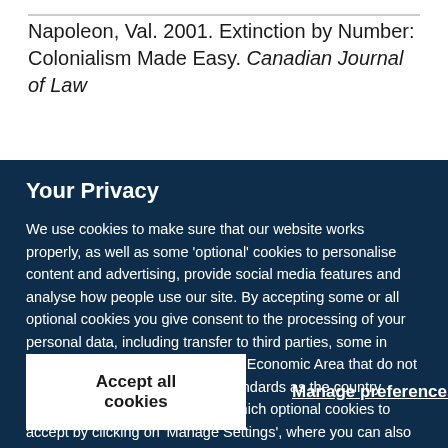Napoleon, Val. 2001. Extinction by Number: Colonialism Made Easy. Canadian Journal of Law
Your Privacy
We use cookies to make sure that our website works properly, as well as some 'optional' cookies to personalise content and advertising, provide social media features and analyse how people use our site. By accepting some or all optional cookies you give consent to the processing of your personal data, including transfer to third parties, some in countries outside of the European Economic Area that do not offer the same data protection standards as the country where you live. You can decide which optional cookies to accept by clicking on 'Manage Settings', where you can also find more information about how your personal data is processed. Further information can be found in our privacy policy.
Accept all cookies
Manage preferences